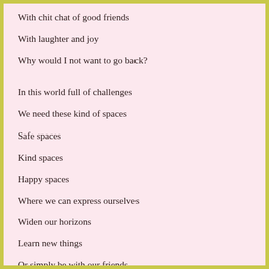With chit chat of good friends
With laughter and joy
Why would I not want to go back?
In this world full of challenges
We need these kind of spaces
Safe spaces
Kind spaces
Happy spaces
Where we can express ourselves
Widen our horizons
Learn new things
Or simply be with our friends